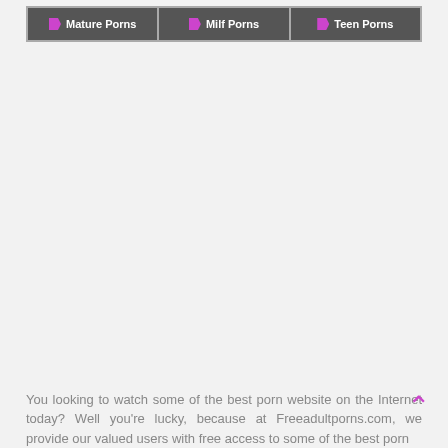Mature Porns | Milf Porns | Teen Porns
You looking to watch some of the best porn website on the Internet today? Well you're lucky, because at Freeadultporns.com, we provide our valued users with free access to some of the best porn